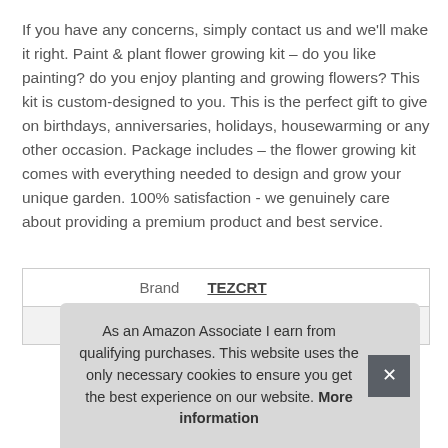If you have any concerns, simply contact us and we'll make it right. Paint & plant flower growing kit – do you like painting? do you enjoy planting and growing flowers? This kit is custom-designed to you. This is the perfect gift to give on birthdays, anniversaries, holidays, housewarming or any other occasion. Package includes – the flower growing kit comes with everything needed to design and grow your unique garden. 100% satisfaction - we genuinely care about providing a premium product and best service.
| Brand | TEZCRT |
| Manufacturer | YD |
As an Amazon Associate I earn from qualifying purchases. This website uses the only necessary cookies to ensure you get the best experience on our website. More information